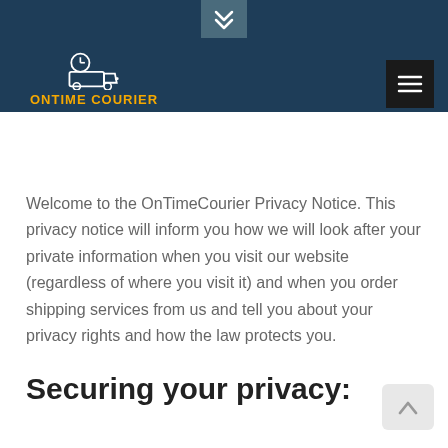ONTIME COURIER
Welcome to the OnTimeCourier Privacy Notice. This privacy notice will inform you how we will look after your private information when you visit our website (regardless of where you visit it) and when you order shipping services from us and tell you about your privacy rights and how the law protects you.
Securing your privacy: